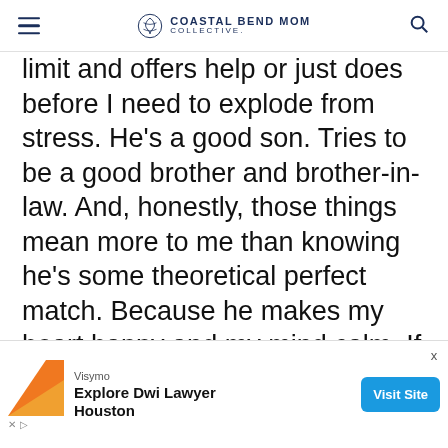COASTAL BEND MOM COLLECTIVE.
limit and offers help or just does before I need to explode from stress. He's a good son. Tries to be a good brother and brother-in-law. And, honestly, those things mean more to me than knowing he's some theoretical perfect match. Because he makes my heart happy and my mind calm. If that isn't what we should all aspire to as hopeless romantic teens, then I don't know what we should tell our kids.
[Figure (other): Advertisement banner for Visymo - Explore Dwi Lawyer Houston with Visit Site button]